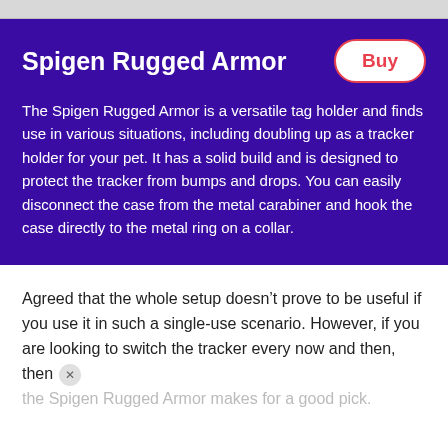[Figure (screenshot): Top strip showing partial product images on a gray background]
Spigen Rugged Armor
The Spigen Rugged Armor is a versatile tag holder and finds use in various situations, including doubling up as a tracker holder for your pet. It has a solid build and is designed to protect the tracker from bumps and drops. You can easily disconnect the case from the metal carabiner and hook the case directly to the metal ring on a collar.
Agreed that the whole setup doesn’t prove to be useful if you use it in such a single-use scenario. However, if you are looking to switch the tracker every now and then, then the Spigen Rugged Armor makes for a good pick.